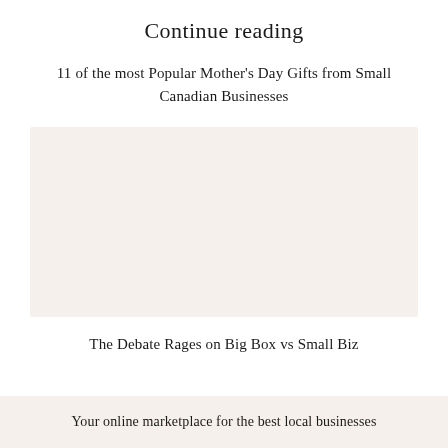Continue reading
11 of the most Popular Mother’s Day Gifts from Small Canadian Businesses
[Figure (photo): Image placeholder for Mother's Day gifts article]
The Debate Rages on Big Box vs Small Biz
Your online marketplace for the best local businesses